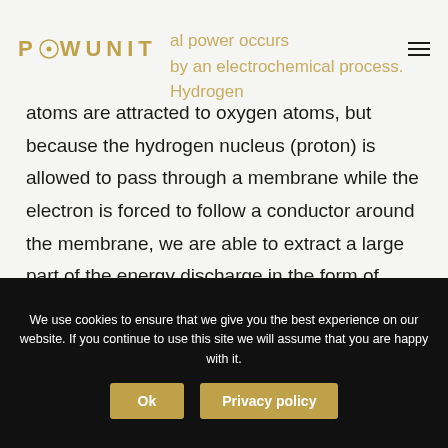POWUNIT
al power occurs by an electrochemical process. Hydrogen atoms are attracted to oxygen atoms, but because the hydrogen nucleus (proton) is allowed to pass through a membrane while the electron is forced to follow a conductor around the membrane, we are able to extract a large part of the energy discharge in the form of electric power . The rest of the energy is converted into heat energy. The result is thus electricity, heat and water
We use cookies to ensure that we give you the best experience on our website. If you continue to use this site we will assume that you are happy with it.